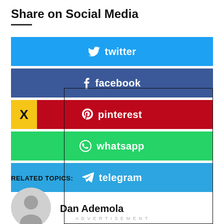Share on Social Media
[Figure (infographic): Social media share buttons: twitter (blue), facebook (dark blue), pinterest (red) with yellow X badge, whatsapp (green), telegram (blue)]
RELATED TOPICS:
[Figure (photo): Gray placeholder avatar circle for Dan Ademola]
Dan Ademola
ADVERTISEMENT